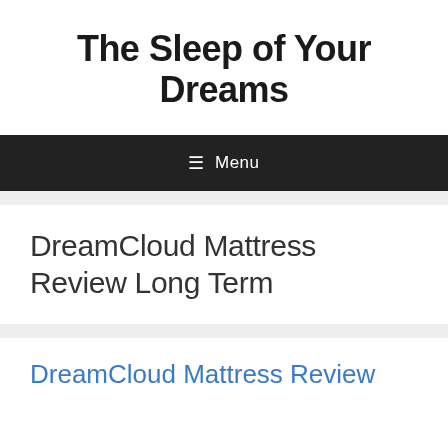The Sleep of Your Dreams
☰ Menu
DreamCloud Mattress Review Long Term
DreamCloud Mattress Review